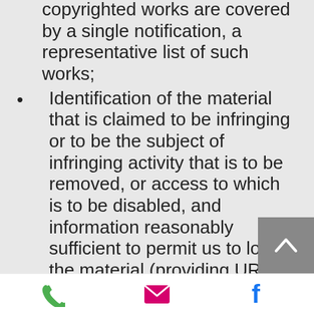copyrighted works are covered by a single notification, a representative list of such works;
Identification of the material that is claimed to be infringing or to be the subject of infringing activity that is to be removed, or access to which is to be disabled, and information reasonably sufficient to permit us to locate the material (providing URLs in the body of an email is the best way to help us locate the content quickly);
Information reasonably sufficient to permit us to contact you, such your address, telephone, fax, and/or an email address;